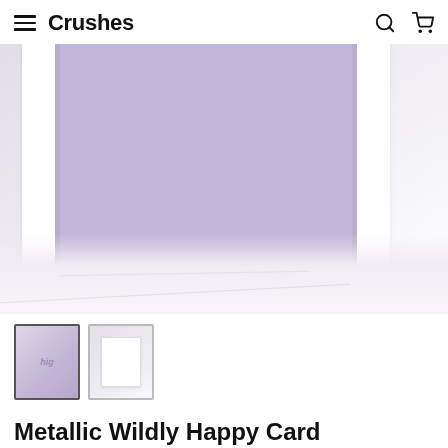Crushes
[Figure (photo): Close-up photo of a greeting card with purple/lavender front on a white marble surface. The card has a white frame/border around a large purple rectangle, partially cropped showing mostly the bottom half of the card.]
[Figure (photo): Two product thumbnail images: first shows the purple Metallic Wildly Happy Card front with script text, second shows the card in white/envelope view on marble background.]
Metallic Wildly Happy Card